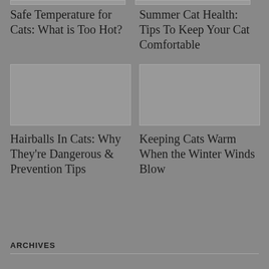Safe Temperature for Cats: What is Too Hot?
Summer Cat Health: Tips To Keep Your Cat Comfortable
[Figure (photo): Article thumbnail image placeholder]
[Figure (photo): Article thumbnail image placeholder]
Hairballs In Cats: Why They're Dangerous & Prevention Tips
Keeping Cats Warm When the Winter Winds Blow
ARCHIVES